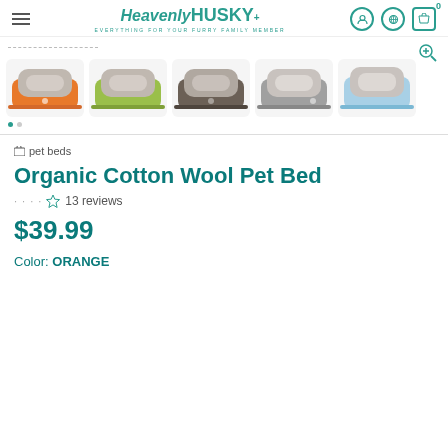Heavenly HUSKY - EVERYTHING FOR YOUR FURRY FAMILY MEMBER
[Figure (photo): Five pet bed thumbnail images in different colors: orange, green/lime, dark gray/charcoal, light gray, and light blue]
pet beds
Organic Cotton Wool Pet Bed
13 reviews
$39.99
Color: ORANGE